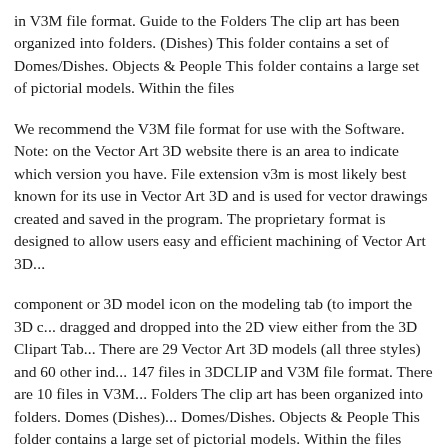in V3M file format. Guide to the Folders The clip art has been organ... (Dishes) This folder contains a set of Domes/Dishes. Objects & Peop... large set of pictorial models. Within the files
We recommend the V3M file format for use with the Software. Note... on the Vector Art 3D website there is an area to indicate which versio... File extension v3m is most likely best known for its use in Vector Ar... used for vector drawings created and saved in the program. The prop... designed to allow users easy and efficient machining of Vector Art 3D...
component or 3D model icon on the modeling tab (to import the 3D c... dragged and dropped into the 2D view either from the 3D Clipart Tab... There are 29 Vector Art 3D models (all three styles) and 60 other ind... 147 files in 3DCLIP and V3M file format. There are 10 files in V3M... Folders The clip art has been organized into folders. Domes (Dishes)... Domes/Dishes. Objects & People This folder contains a large set of p... files
There are 29 Vector Art 3D models (all three styles) and 60 other ind...